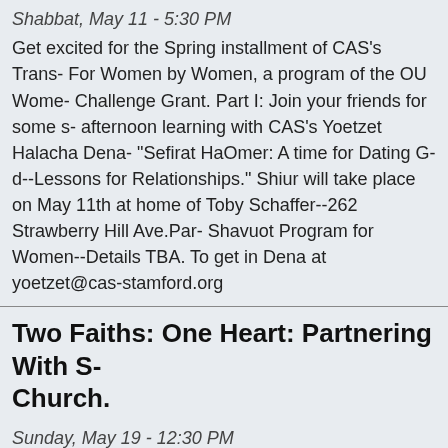Shabbat, May 11 - 5:30 PM
Get excited for the Spring installment of CAS's Trans- For Women by Women, a program of the OU Wome- Challenge Grant. Part I: Join your friends for some s- afternoon learning with CAS's Yoetzet Halacha Dena- "Sefirat HaOmer: A time for Dating G-d--Lessons for Relationships." Shiur will take place on May 11th at home of Toby Schaffer--262 Strawberry Hill Ave.Par- Shavuot Program for Women--Details TBA. To get in Dena at yoetzet@cas-stamford.org
Two Faiths: One Heart: Partnering With S- Church.
Sunday, May 19 - 12:30 PM
Please join us in the CAS social hall as we kick-off a initiative with St. Bridget of Ireland Church. our Than- partnership for the homeless was a wonderful succe- running a drive for specific items to benefit Jewish F- the Undies Project, and the Salvation Army. Great o-